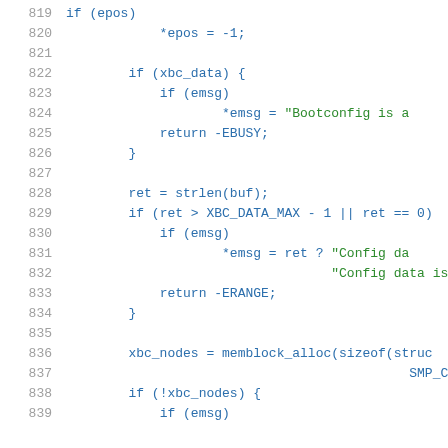Source code listing, lines 819-839, C language kernel code related to bootconfig and memory allocation.